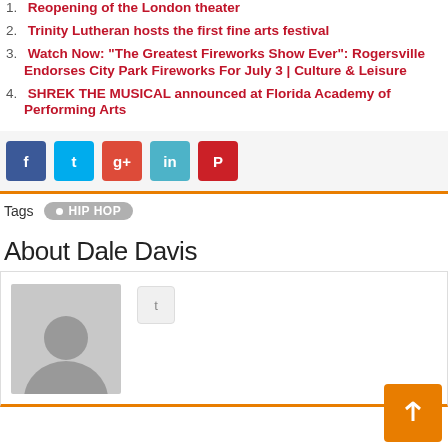1. Reopening of the London theater
2. Trinity Lutheran hosts the first fine arts festival
3. Watch Now: "The Greatest Fireworks Show Ever": Rogersville Endorses City Park Fireworks For July 3 | Culture & Leisure
4. SHREK THE MUSICAL announced at Florida Academy of Performing Arts
Tags  HIP HOP
About Dale Davis
[Figure (photo): Gray placeholder avatar of a person silhouette]